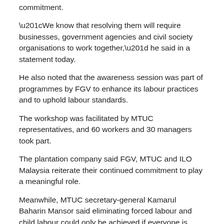commitment.
“We know that resolving them will require businesses, government agencies and civil society organisations to work together,” he said in a statement today.
He also noted that the awareness session was part of programmes by FGV to enhance its labour practices and to uphold labour standards.
The workshop was facilitated by MTUC representatives, and 60 workers and 30 managers took part.
The plantation company said FGV, MTUC and ILO Malaysia reiterate their continued commitment to play a meaningful role.
Meanwhile, MTUC secretary-general Kamarul Baharin Mansor said eliminating forced labour and child labour could only be achieved if everyone is aware.
ILO Malaysia’s national project co-ordinator Josh Hong highlighted the importance of freedom of association and collective bargaining as a way to empower the workers and reiterated the ILO’s